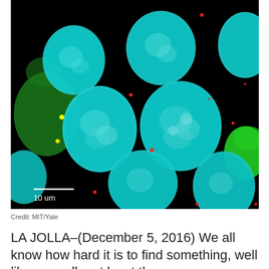[Figure (photo): Fluorescence microscopy image of cells with cyan/teal stained nuclei on black background, with green cytoplasmic regions and scattered red and yellow fluorescent dots. Scale bar labeled '10 um' in lower left corner. Credit: MIT/Yale.]
Credit: MIT/Yale
LA JOLLA–(December 5, 2016) We all know how hard it is to find something, well like a needle, at least the...